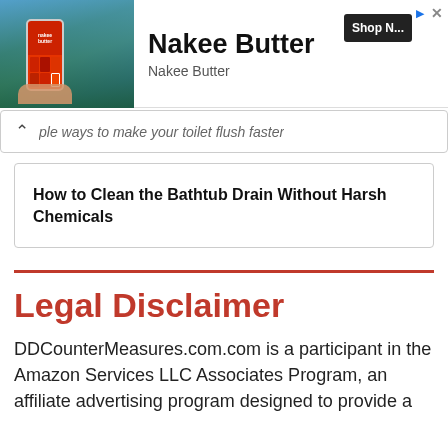[Figure (screenshot): Advertisement banner for Nakee Butter showing product app/phone image on left, brand name 'Nakee Butter' in bold, subtitle 'Nakee Butter', a 'Shop N...' button, and close/arrow icons in top right corner.]
ple ways to make your toilet flush faster
How to Clean the Bathtub Drain Without Harsh Chemicals
Legal Disclaimer
DDCounterMeasures.com.com is a participant in the Amazon Services LLC Associates Program, an affiliate advertising program designed to provide a means for sites to earn advertising fees by...